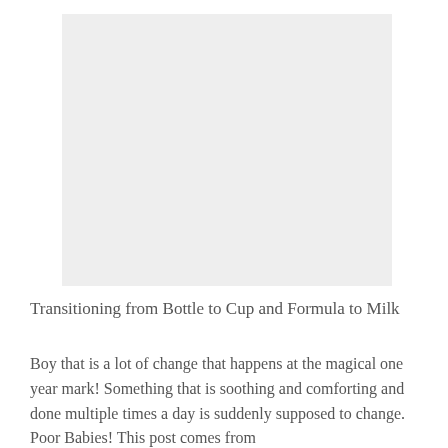[Figure (photo): A large light gray placeholder image rectangle]
Transitioning from Bottle to Cup and Formula to Milk
Boy that is a lot of change that happens at the magical one year mark!  Something that is soothing and comforting and done multiple times a day is suddenly supposed to change.  Poor Babies!  This post comes from